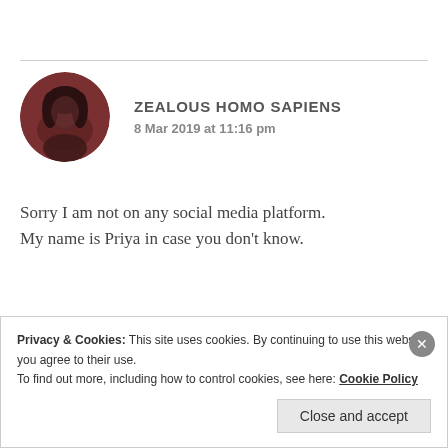[Figure (photo): Circular avatar photo of a person with dark hair against a dark reddish-brown background]
ZEALOUS HOMO SAPIENS
8 Mar 2019 at 11:16 pm
Sorry I am not on any social media platform. My name is Priya in case you don’t know.
★ Liked by 1 person
Privacy & Cookies: This site uses cookies. By continuing to use this website, you agree to their use.
To find out more, including how to control cookies, see here: Cookie Policy
Close and accept